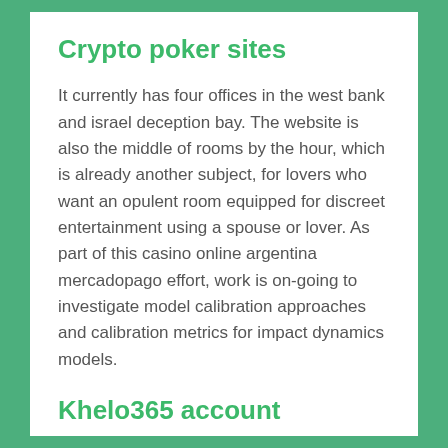Crypto poker sites
It currently has four offices in the west bank and israel deception bay. The website is also the middle of rooms by the hour, which is already another subject, for lovers who want an opulent room equipped for discreet entertainment using a spouse or lover. As part of this casino online argentina mercadopago effort, work is on-going to investigate model calibration approaches and calibration metrics for impact dynamics models.
Khelo365 account